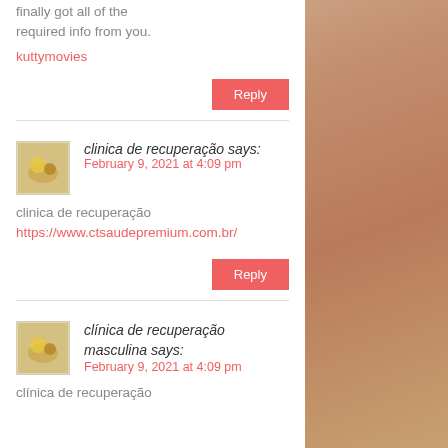finally got all of the required info from you.
kuttymovies
Reply
clinica de recuperação says:
February 9, 2021 at 4:09 pm
clinica de recuperação https://www.ctsaudepremium.com.br/
Reply
clínica de recuperação masculina says:
February 9, 2021 at 4:09 pm
clínica de recuperação